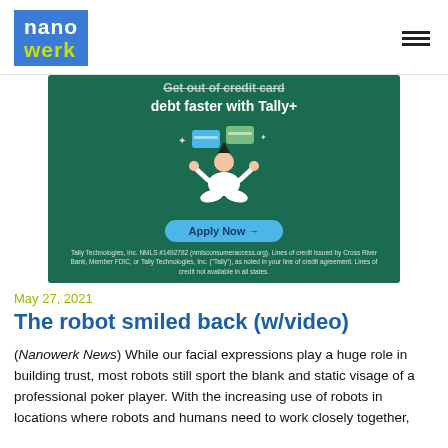nanowerk
[Figure (illustration): Advertisement for Tally+ credit card debt service. Dark green background with text 'Get out of credit card debt faster with Tally+', an illustration of a person meditating with credit cards floating above, an 'Apply Now' button, and fine print about Tally Technologies, Inc. NMLS #1492782.]
May 27, 2021
The robot smiled back (w/video)
(Nanowerk News) While our facial expressions play a huge role in building trust, most robots still sport the blank and static visage of a professional poker player. With the increasing use of robots in locations where robots and humans need to work closely together,